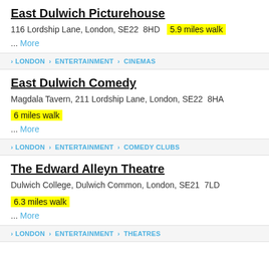East Dulwich Picturehouse
116 Lordship Lane, London, SE22  8HD  5.9 miles walk
... More
› LONDON › ENTERTAINMENT › CINEMAS
East Dulwich Comedy
Magdala Tavern, 211 Lordship Lane, London, SE22  8HA
6 miles walk
... More
› LONDON › ENTERTAINMENT › COMEDY CLUBS
The Edward Alleyn Theatre
Dulwich College, Dulwich Common, London, SE21  7LD
6.3 miles walk
... More
› LONDON › ENTERTAINMENT › THEATRES